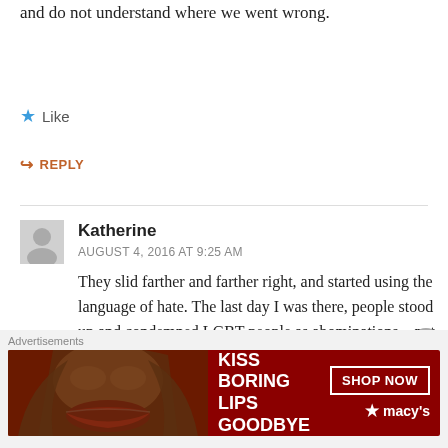and do not understand where we went wrong.
Like
REPLY
Katherine
AUGUST 4, 2016 AT 9:25 AM
They slid farther and farther right, and started using the language of hate. The last day I was there, people stood up and condemned LGBT people as abominations – not calling their behavior wrong, but referring to the people themselves as abominations. Some of those
[Figure (illustration): Advertisement banner: KISS BORING LIPS GOODBYE with SHOP NOW button and Macy's logo]
Advertisements